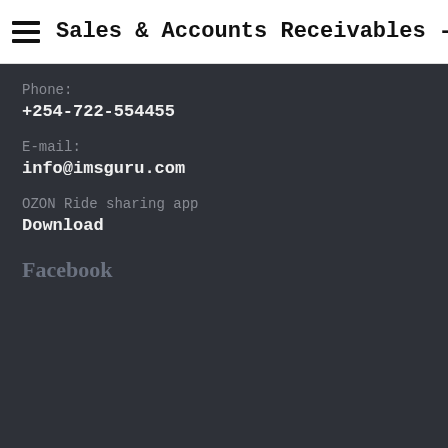Sales & Accounts Receivables - IMS
Phone:
+254-722-554455
E-mail:
info@imsguru.com
OZON Ride sharing app
Download
Facebook